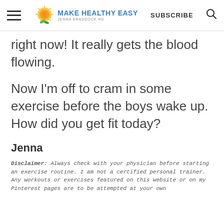MAKE HEALTHY EASY — JENNA BRADDOCK RD | SUBSCRIBE
right now! It really gets the blood flowing.
Now I'm off to cram in some exercise before the boys wake up. How did you get fit today?
Jenna
Disclaimer: Always check with your physician before starting an exercise routine. I am not a certified personal trainer. Any workouts or exercises featured on this website or on my Pinterest pages are to be attempted at your own